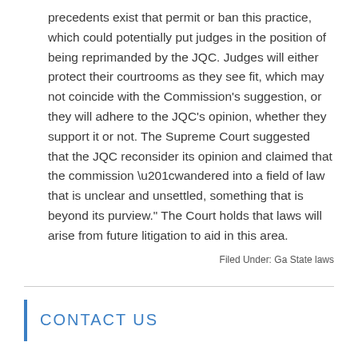precedents exist that permit or ban this practice, which could potentially put judges in the position of being reprimanded by the JQC. Judges will either protect their courtrooms as they see fit, which may not coincide with the Commission's suggestion, or they will adhere to the JQC's opinion, whether they support it or not. The Supreme Court suggested that the JQC reconsider its opinion and claimed that the commission “wandered into a field of law that is unclear and unsettled, something that is beyond its purview.” The Court holds that laws will arise from future litigation to aid in this area.
Filed Under: Ga State laws
CONTACT US